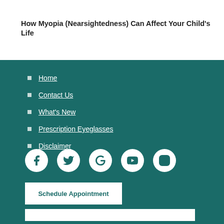[Figure (photo): Top portion of a photo showing a child in a medical/optometry setting, cropped to a strip]
How Myopia (Nearsightedness) Can Affect Your Child's Life
Home
Contact Us
What's New
Prescription Eyeglasses
Disclaimer
[Figure (other): Social media icons: Facebook, Twitter, Google, YouTube, Instagram — white circles on teal background]
Schedule Appointment